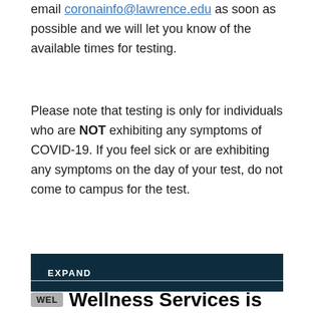email coronainfo@lawrence.edu as soon as possible and we will let you know of the available times for testing.
Please note that testing is only for individuals who are NOT exhibiting any symptoms of COVID-19. If you feel sick or are exhibiting any symptoms on the day of your test, do not come to campus for the test.
EXPAND
WEL  Wellness Services is looking for student interviewers